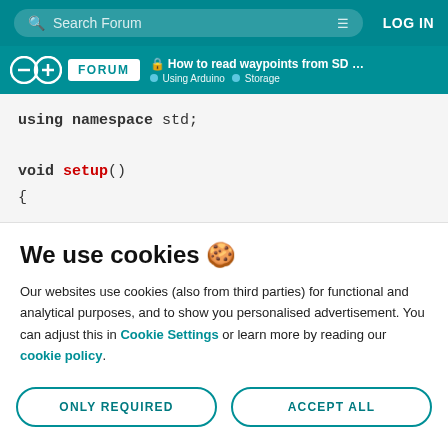Search Forum | LOG IN
How to read waypoints from SD card usin... | Using Arduino | Storage
using namespace std;

void setup()
{
We use cookies 🍪
Our websites use cookies (also from third parties) for functional and analytical purposes, and to show you personalised advertisement. You can adjust this in Cookie Settings or learn more by reading our cookie policy.
ONLY REQUIRED | ACCEPT ALL